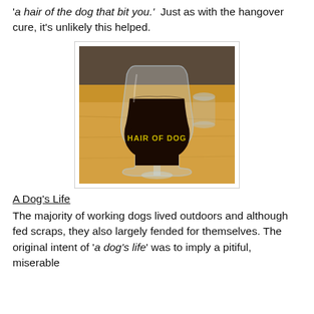'a hair of the dog that bit you.' Just as with the hangover cure, it's unlikely this helped.
[Figure (photo): A dark beer in a glass with 'HAIR OF DOG' printed on it, sitting on a wooden table. Another glass is visible in the background.]
A Dog's Life
The majority of working dogs lived outdoors and although fed scraps, they also largely fended for themselves. The original intent of 'a dog's life' was to imply a pitiful, miserable existence. The word also occupied a similar, but not entirely...